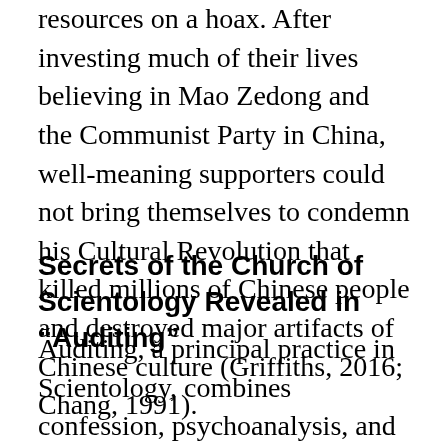resources on a hoax. After investing much of their lives believing in Mao Zedong and the Communist Party in China, well-meaning supporters could not bring themselves to condemn his Cultural Revolution that killed millions of Chinese people and destroyed major artifacts of Chinese culture (Griffiths, 2016; Chang, 1991).
Secrets of the Church of Scientology Revealed in “Auditing”
Auditing, a principal practice in Scientology, combines confession, psychoanalysis, and hypnosis that is purported to increase self-knowledge and to remove emotional barriers from the past (Sessions, 2012). The intense experience is carried out between am auditor